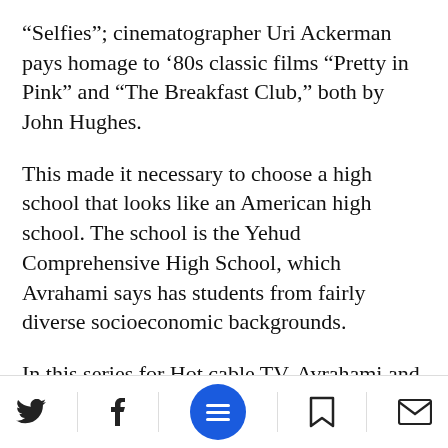“Selfies”; cinematographer Uri Ackerman pays homage to ‘80s classic films “Pretty in Pink” and “The Breakfast Club,” both by John Hughes.
This made it necessary to choose a high school that looks like an American high school. The school is the Yehud Comprehensive High School, which Avrahami says has students from fairly diverse socioeconomic backgrounds.
In this series for Hot cable TV, Avrahami and her team use five ver……erent kids to tell the
[social icons: Twitter, Facebook, Menu, Bookmark, Mail]